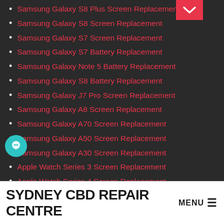Samsung Galaxy S8 Plus Screen Replacement
Samsung Galaxy S8 Screen Replacement
Samsung Galaxy S7 Screen Replacement
Samsung Galaxy S7 Battery Replacement
Samsung Galaxy Note 5 Battery Replacement
Samsung Galaxy S8 Battery Replacement
Samsung Galaxy J7 Pro Screen Replacement
Samsung Galaxy A8 Screen Replacement
Samsung Galaxy A70 Screen Replacement
Samsung Galaxy A50 Screen Replacement
Samsung Galaxy A30 Screen Replacement
Apple Watch Series 3 Screen Replacement
Apple Watch Series 4 Screen Replacement
OnePlus 6t Screen Replacement
Google Pixel 4 Screen Replacement
Google Pixel 4 XL Screen Replacement
Xiaomi Mi 9T Screen Replacement
SYDNEY CBD REPAIR CENTRE